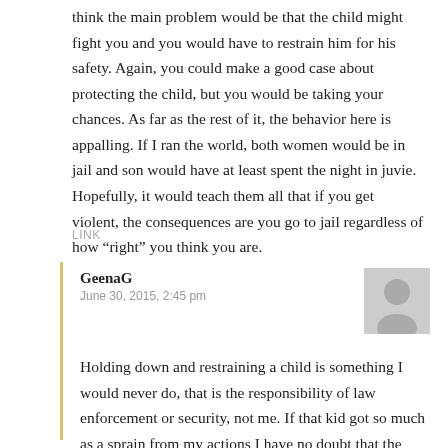think the main problem would be that the child might fight you and you would have to restrain him for his safety. Again, you could make a good case about protecting the child, but you would be taking your chances. As far as the rest of it, the behavior here is appalling. If I ran the world, both women would be in jail and son would have at least spent the night in juvie. Hopefully, it would teach them all that if you get violent, the consequences are you go to jail regardless of how “right” you think you are.
LINK
GeenaG
June 30, 2015, 2:45 pm
Holding down and restraining a child is something I would never do, that is the responsibility of law enforcement or security, not me. If that kid got so much as a sprain from my actions I have no doubt that the mother would be filing complaints and lawsuits against me for abuse.